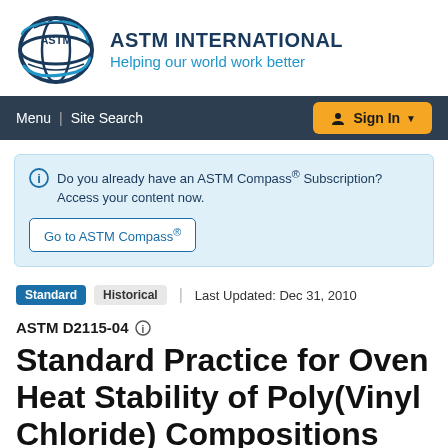[Figure (logo): ASTM International logo with circular globe design and text 'ASTM INTERNATIONAL / Helping our world work better']
Menu | Site Search  Sign In
Do you already have an ASTM Compass® Subscription? Access your content now.
Go to ASTM Compass®
Standard  Historical  |  Last Updated: Dec 31, 2010
ASTM D2115-04
Standard Practice for Oven Heat Stability of Poly(Vinyl Chloride) Compositions